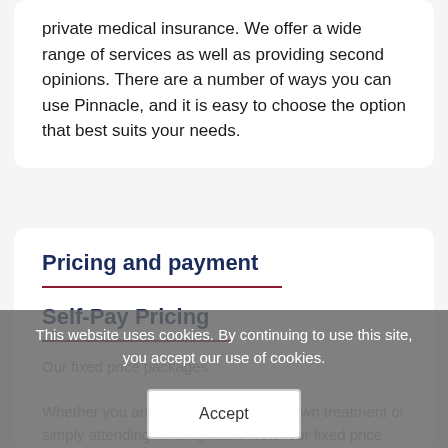private medical insurance. We offer a wide range of services as well as providing second opinions. There are a number of ways you can use Pinnacle, and it is easy to choose the option that best suits your needs.
Pricing and payment
Self-Pay Pricing
This website uses cookies. By continuing to use this site, you accept our use of cookies.